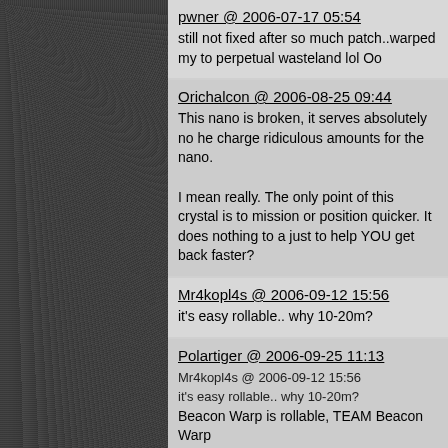pwner @ 2006-07-17 05:54
still not fixed after so much patch..warped my to perpetual wasteland lol Oo
Orichalcon @ 2006-08-25 09:44
This nano is broken, it serves absolutely no he charge ridiculous amounts for the nano.

I mean really. The only point of this crystal is to mission or position quicker. It does nothing to a just to help YOU get back faster?
Mr4kopl4s @ 2006-09-12 15:56
it's easy rollable.. why 10-20m?
Polartiger @ 2006-09-25 11:13
Mr4kopl4s @ 2006-09-12 15:56
it's easy rollable.. why 10-20m?

Beacon Warp is rollable, TEAM Beacon Warp
toe @ 2006-09-29 18:56
Still broken as of patch 16.3
Threeze @ 2007-03-09 19:28
thank you toe for the most useful post out of th